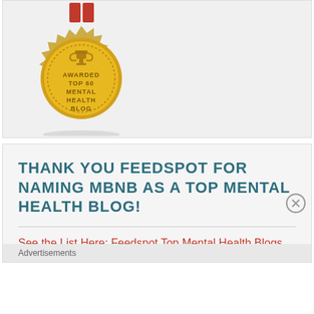[Figure (illustration): Gold medal/badge with red ribbon at top, decorated edge, trophy icon, text reading AWARDED TOP 60 MENTAL HEALTH BLOG]
THANK YOU FEEDSPOT FOR NAMING MBNB AS A TOP MENTAL HEALTH BLOG!
See the List Here: Feedspot Top Mental Health Blogs
Advertisements